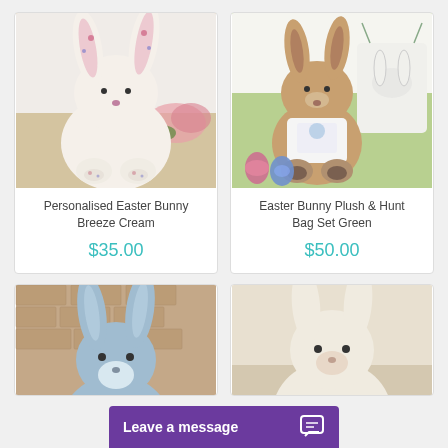[Figure (photo): White personalised Easter bunny plush toy with floral patterned ears, sitting on a wooden surface with flowers in background]
Personalised Easter Bunny Breeze Cream
$35.00
[Figure (photo): Brown Easter bunny plush toy wearing a t-shirt, sitting on grass with chocolate eggs and a white drawstring bag with bunny face]
Easter Bunny Plush & Hunt Bag Set Green
$50.00
[Figure (photo): Blue Easter bunny plush toy partially visible, sitting in front of a brick wall]
[Figure (photo): Cream/white Easter bunny plush toy partially visible]
Leave a message